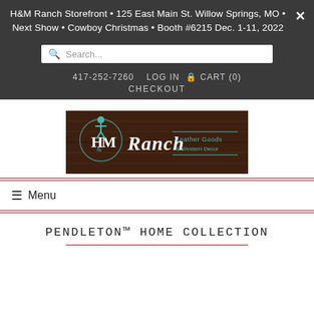H&M Ranch Storefront • 125 East Main St. Willow Springs, MO • Next Show • Cowboy Christmas • Booth #6215 Dec. 1-11, 2022
417-252-7260  LOG IN  CART (0)  CHECKOUT
[Figure (logo): H&M Ranch logo banner with wooden background, teal cowboy figure, script 'Ranch' text, and 'Leather Goods & Western Decor' tagline]
≡  Menu
PENDLETON™ HOME COLLECTION